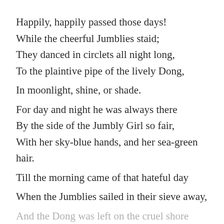Happily, happily passed those days!
While the cheerful Jumblies staid;
They danced in circlets all night long,
To the plaintive pipe of the lively Dong,
In moonlight, shine, or shade.
For day and night he was always there
By the side of the Jumbly Girl so fair,
With her sky-blue hands, and her sea-green hair.
Till the morning came of that hateful day
When the Jumblies sailed in their sieve away,
And the Dong was left on the cruel shore
Gazing — gazing for evermore, —